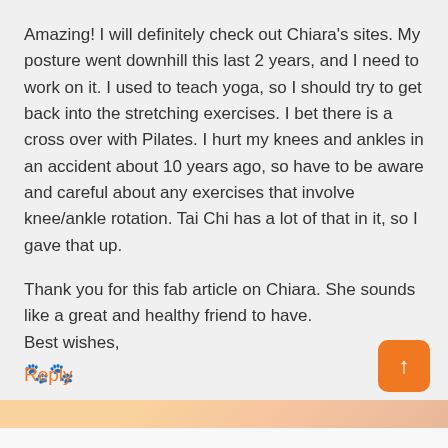Amazing! I will definitely check out Chiara's sites. My posture went downhill this last 2 years, and I need to work on it. I used to teach yoga, so I should try to get back into the stretching exercises. I bet there is a cross over with Pilates. I hurt my knees and ankles in an accident about 10 years ago, so have to be aware and careful about any exercises that involve knee/ankle rotation. Tai Chi has a lot of that in it, so I gave that up.

Thank you for this fab article on Chiara. She sounds like a great and healthy friend to have.
Best wishes,
🐾🐾
Loading...
Reply